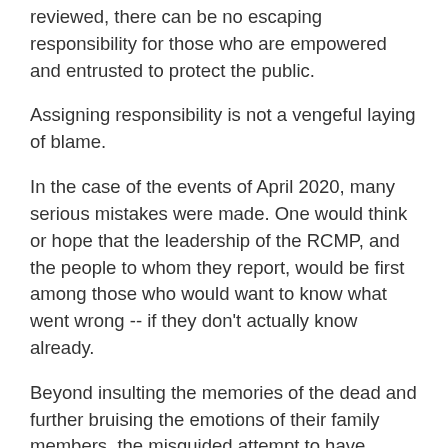reviewed, there can be no escaping responsibility for those who are empowered and entrusted to protect the public.
Assigning responsibility is not a vengeful laying of blame.
In the case of the events of April 2020, many serious mistakes were made. One would think or hope that the leadership of the RCMP, and the people to whom they report, would be first among those who would want to know what went wrong -- if they don't actually know already.
Beyond insulting the memories of the dead and further bruising the emotions of their family members, the misguided attempt to have